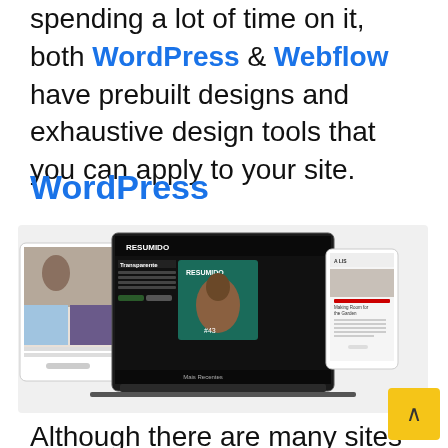spending a lot of time on it, both WordPress & Webflow have prebuilt designs and exhaustive design tools that you can apply to your site.
WordPress
[Figure (screenshot): Screenshot collage showing three WordPress website examples: a tablet showing an art site, a laptop showing the RESUMIDO podcast website with 'Transparente #43' episode, and a mobile phone showing a blog-style site.]
Although there are many sites with a large